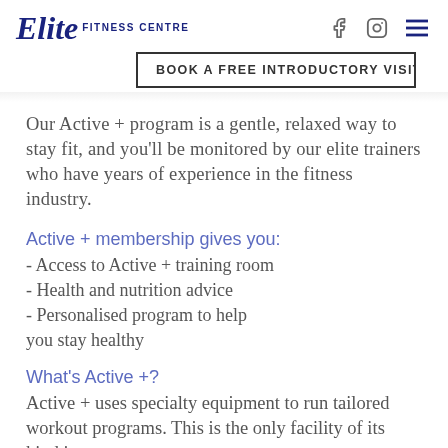Elite FITNESS CENTRE
BOOK A FREE INTRODUCTORY VISIT
Our Active + program is a gentle, relaxed way to stay fit, and you'll be monitored by our elite trainers who have years of experience in the fitness industry.
Active + membership gives you:
- Access to Active + training room
- Health and nutrition advice
- Personalised program to help you stay healthy
What's Active +?
Active + uses specialty equipment to run tailored workout programs. This is the only facility of its kind in